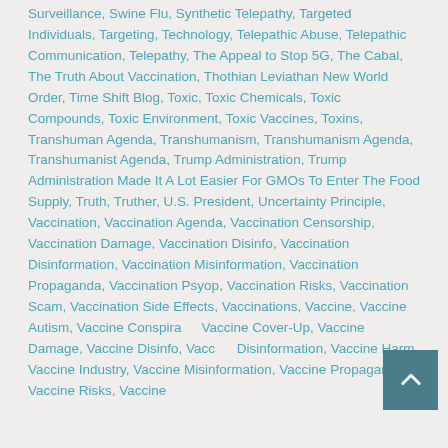Surveillance, Swine Flu, Synthetic Telepathy, Targeted Individuals, Targeting, Technology, Telepathic Abuse, Telepathic Communication, Telepathy, The Appeal to Stop 5G, The Cabal, The Truth About Vaccination, Thothian Leviathan New World Order, Time Shift Blog, Toxic, Toxic Chemicals, Toxic Compounds, Toxic Environment, Toxic Vaccines, Toxins, Transhuman Agenda, Transhumanism, Transhumanism Agenda, Transhumanist Agenda, Trump Administration, Trump Administration Made It A Lot Easier For GMOs To Enter The Food Supply, Truth, Truther, U.S. President, Uncertainty Principle, Vaccination, Vaccination Agenda, Vaccination Censorship, Vaccination Damage, Vaccination Disinfo, Vaccination Disinformation, Vaccination Misinformation, Vaccination Propaganda, Vaccination Psyop, Vaccination Risks, Vaccination Scam, Vaccination Side Effects, Vaccinations, Vaccine, Vaccine Autism, Vaccine Conspiracy, Vaccine Cover-Up, Vaccine Damage, Vaccine Disinfo, Vaccine Disinformation, Vaccine Harm, Vaccine Industry, Vaccine Misinformation, Vaccine Propaganda, Vaccine Risks, Vaccine